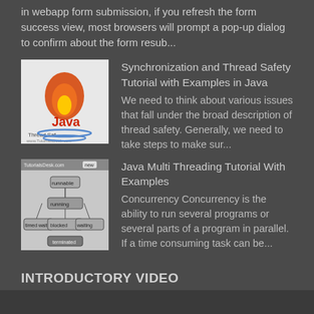in webapp form submission, if you refresh the form success view, most browsers will prompt a pop-up dialog to confirm about the form resub...
[Figure (illustration): Java Thread Safety tutorial thumbnail with Java logo and text]
Synchronization and Thread Safety Tutorial with Examples in Java
We need to think about various issues that fall under the broad description of thread safety. Generally, we need to take steps to make sur...
[Figure (illustration): Java Multi Threading tutorial thumbnail with thread state diagram]
Java Multi Threading Tutorial With Examples
Concurrency Concurrency is the ability to run several programs or several parts of a program in parallel. If a time consuming task can be...
INTRODUCTORY VIDEO
3/recent/post-list